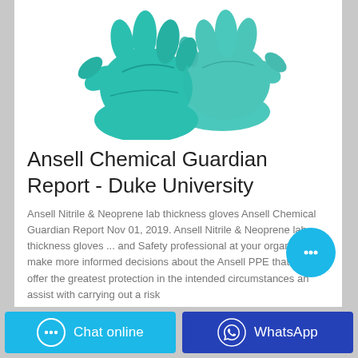[Figure (photo): Teal/turquoise nitrile lab gloves photographed against white background]
Ansell Chemical Guardian Report - Duke University
Ansell Nitrile & Neoprene lab thickness gloves Ansell Chemical Guardian Report Nov 01, 2019. Ansell Nitrile & Neoprene lab thickness gloves ... and Safety professional at your organization make more informed decisions about the Ansell PPE that may offer the greatest protection in the intended circumstances and assist with carrying out a risk